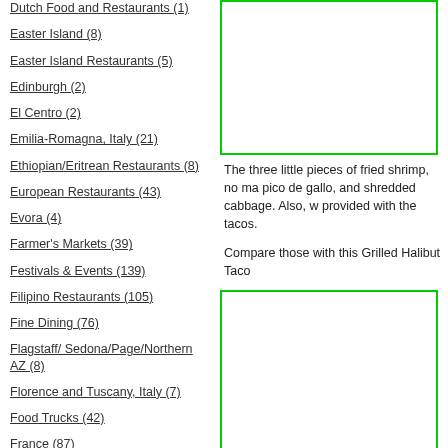Dutch Food and Restaurants (1)
Easter Island (8)
Easter Island Restaurants (5)
Edinburgh (2)
El Centro (2)
Emilia-Romagna, Italy (21)
Ethiopian/Eritrean Restaurants (8)
European Restaurants (43)
Evora (4)
Farmer's Markets (39)
Festivals & Events (139)
Filipino Restaurants (105)
Fine Dining (76)
Flagstaff/ Sedona/Page/Northern AZ (8)
Florence and Tuscany, Italy (7)
Food Trucks (42)
France (87)
French Restaurants (95)
[Figure (photo): Image of fried shrimp tacos with green border]
The three little pieces of fried shrimp, no ma pico de gallo, and shredded cabbage. Also, w provided with the tacos.
Compare those with this Grilled Halibut Taco
[Figure (photo): Image of grilled halibut taco with green border]